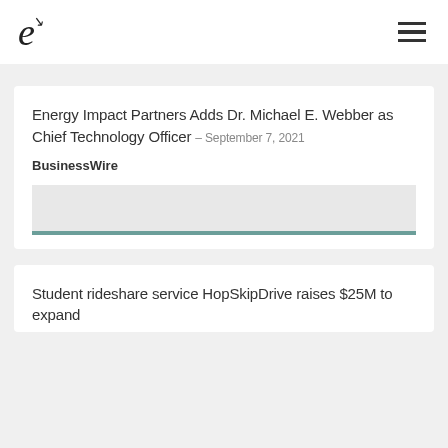e
Energy Impact Partners Adds Dr. Michael E. Webber as Chief Technology Officer – September 7, 2021
BusinessWire
[Figure (illustration): Gray placeholder image block with teal accent bar at bottom]
Student rideshare service HopSkipDrive raises $25M to expand